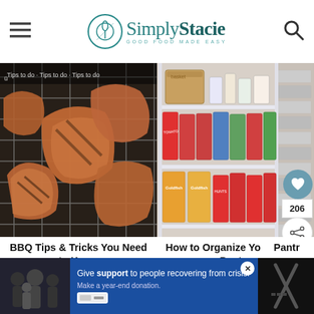Simply Stacie - Good Food Made Easy
[Figure (photo): BBQ meats and vegetables on a grill grate, viewed from above]
[Figure (photo): Organized pantry shelves with cans, boxes, and a wicker basket]
BBQ Tips & Tricks You Need to Know
How to Organize Your Pantry
WHAT'S NEXT → Sante Nuts Review
[Figure (screenshot): Advertisement banner: Give support to people recovering from crisis. Make a year-end donation.]